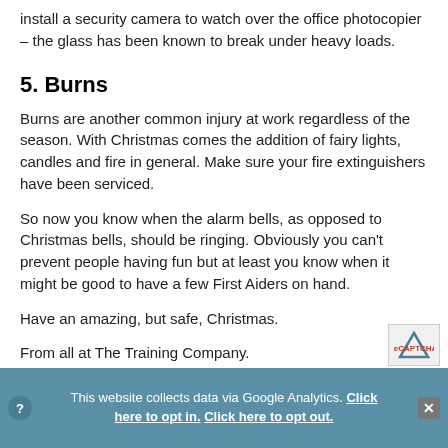install a security camera to watch over the office photocopier – the glass has been known to break under heavy loads.
5. Burns
Burns are another common injury at work regardless of the season. With Christmas comes the addition of fairy lights, candles and fire in general. Make sure your fire extinguishers have been serviced.
So now you know when the alarm bells, as opposed to Christmas bells, should be ringing. Obviously you can't prevent people having fun but at least you know when it might be good to have a few First Aiders on hand.
Have an amazing, but safe, Christmas.
From all at The Training Company.
This website collects data via Google Analytics. Click here to opt in. Click here to opt out.